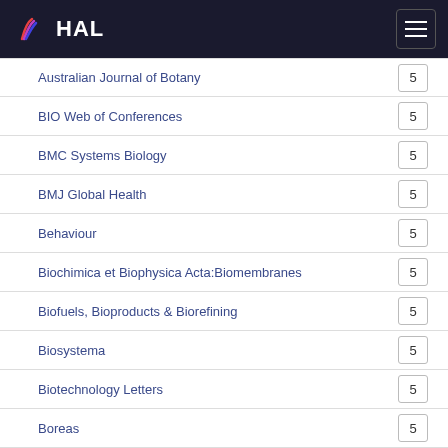HAL
Australian Journal of Botany  5
BIO Web of Conferences  5
BMC Systems Biology  5
BMJ Global Health  5
Behaviour  5
Biochimica et Biophysica Acta:Biomembranes  5
Biofuels, Bioproducts & Biorefining  5
Biosystema  5
Biotechnology Letters  5
Boreas  5
Botany / Botanique  5